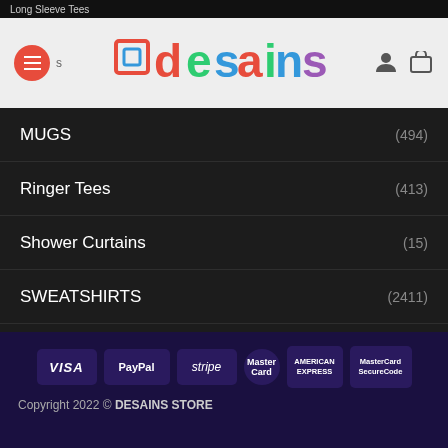Long Sleeve Tees
[Figure (logo): Desains store logo with multicolor text on light grey header bar, hamburger menu button on red circle, user and cart icons]
MUGS (494)
Ringer Tees (413)
Shower Curtains (15)
SWEATSHIRTS (2411)
T-SHIRTS (3481)
TANK TOP (2002)
Uncategorized (1)
Copyright 2022 © DESAINS STORE